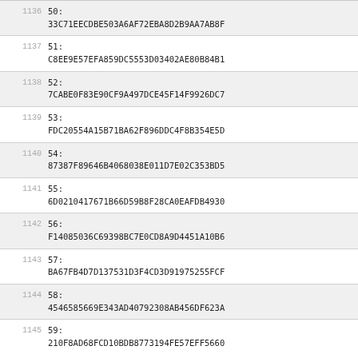| line | index | value |
| --- | --- | --- |
| 1136 | 50: | 33C71EECDBE503A6AF72EBA8D2B9AA7AB8F |
| 1137 | 51: | C8EE9E57EFA859DC5553D03402AE80B84B1 |
| 1138 | 52: | 7CABE0F83E90CF9A497DCE45F14F9926DC7 |
| 1139 | 53: | FDC20554A15B71BA62F896DDC4F8B354E5D |
| 1140 | 54: | 87387F89646B4068038E011D7E02C353BD5 |
| 1141 | 55: | 6D0210417671B66D59B8F28CA0EAFDB4930 |
| 1142 | 56: | F14085036C69398BC7E0CD8A9D4451A10B6 |
| 1143 | 57: | BA67FB4D7D137531D3F4CD3D91975255FCF |
| 1144 | 58: | 4546585669E343AD40792308AB456DF623A |
| 1145 | 59: | 210F8AD68FCD10BDB8773194FE57EFF5660 |